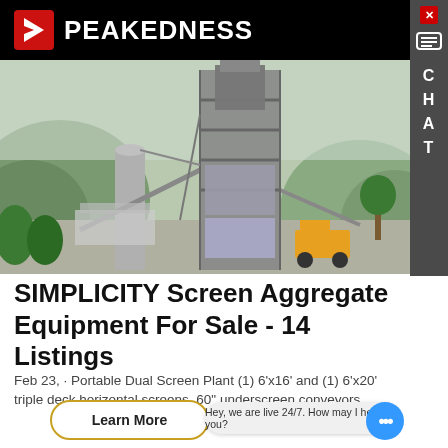PEAKEDNESS
[Figure (photo): Industrial aggregate screening plant / asphalt mixing plant under construction or in operation, with large steel tower structure, silos, conveyor belts, mountains and trees in background, construction equipment visible.]
SIMPLICITY Screen Aggregate Equipment For Sale - 14 Listings
Feb 23, · Portable Dual Screen Plant (1) 6'x16' and (1) 6'x20' triple deck horizontal screens, 60" underscreen conveyors.
Learn More
Hey, we are live 24/7. How may I help you?